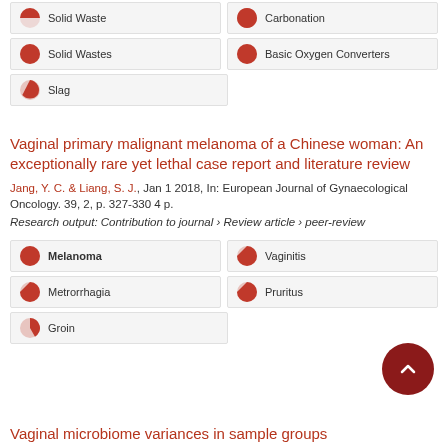Solid Waste
Carbonation
Solid Wastes
Basic Oxygen Converters
Slag
Vaginal primary malignant melanoma of a Chinese woman: An exceptionally rare yet lethal case report and literature review
Jang, Y. C. & Liang, S. J., Jan 1 2018, In: European Journal of Gynaecological Oncology. 39, 2, p. 327-330 4 p.
Research output: Contribution to journal › Review article › peer-review
Melanoma
Vaginitis
Metrorrhagia
Pruritus
Groin
Vaginal microbiome variances in sample groups